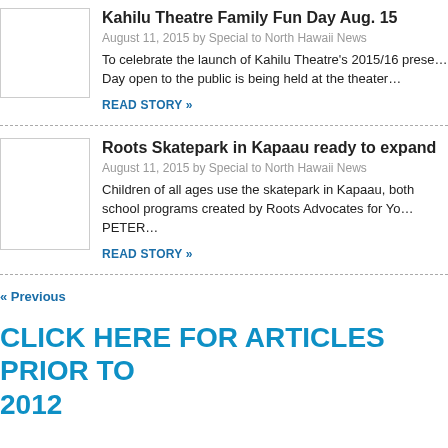Kahilu Theatre Family Fun Day Aug. 15
August 11, 2015 by Special to North Hawaii News
To celebrate the launch of Kahilu Theatre's 2015/16 prese…
Day open to the public is being held at the theater…
READ STORY »
Roots Skatepark in Kapaau ready to expand
August 11, 2015 by Special to North Hawaii News
Children of all ages use the skatepark in Kapaau, both… school programs created by Roots Advocates for Yo… PETER…
READ STORY »
« Previous
CLICK HERE FOR ARTICLES PRIOR TO 2012